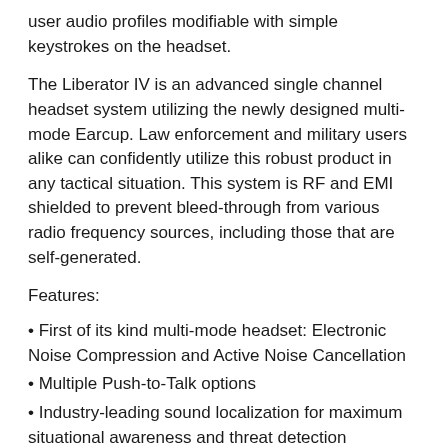user audio profiles modifiable with simple keystrokes on the headset.
The Liberator IV is an advanced single channel headset system utilizing the newly designed multi-mode Earcup. Law enforcement and military users alike can confidently utilize this robust product in any tactical situation. This system is RF and EMI shielded to prevent bleed-through from various radio frequency sources, including those that are self-generated.
Features:
First of its kind multi-mode headset: Electronic Noise Compression and Active Noise Cancellation
Multiple Push-to-Talk options
Industry-leading sound localization for maximum situational awareness and threat detection
Dual Fuel technology which enables the headset to run on either two AAA or one CR123 battery